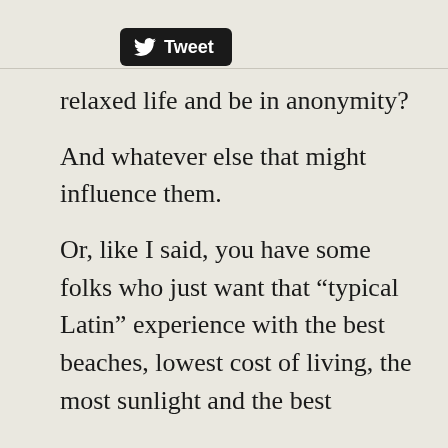[Figure (other): Twitter Tweet button with bird logo]
relaxed life and be in anonymity?

And whatever else that might influence them.

Or, like I said, you have some folks who just want that “typical Latin” experience with the best beaches, lowest cost of living, the most sunlight and the best